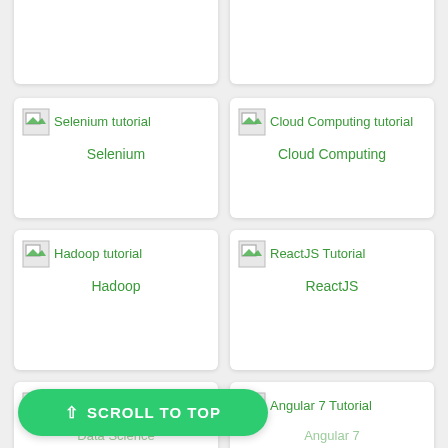[Figure (other): Artificial Intelligence Tutorial broken image icon with text]
Artificial Intelligence
[Figure (other): AWS Tutorial broken image icon with text]
AWS
[Figure (other): Selenium tutorial broken image icon with text]
Selenium
[Figure (other): Cloud Computing tutorial broken image icon with text]
Cloud Computing
[Figure (other): Hadoop tutorial broken image icon with text]
Hadoop
[Figure (other): ReactJS Tutorial broken image icon with text]
ReactJS
[Figure (other): Data Science tutorial broken image icon with text (partial)]
Data Science
[Figure (other): Angular 7 Tutorial broken image icon with text (partial)]
Angular 7